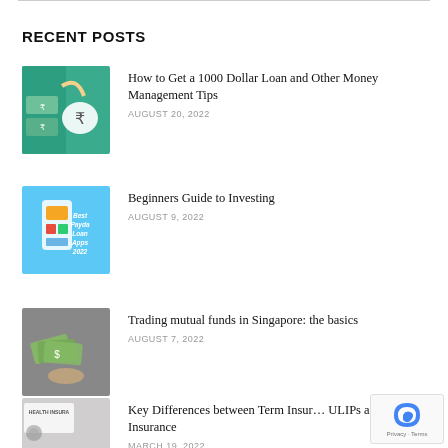RECENT POSTS
How to Get a 1000 Dollar Loan and Other Money Management Tips — AUGUST 20, 2022
Beginners Guide to Investing — AUGUST 9, 2022
Trading mutual funds in Singapore: the basics — AUGUST 7, 2022
Key Differences between Term Insurance, ULIPs and Health Insurance — MARCH 19, 2022